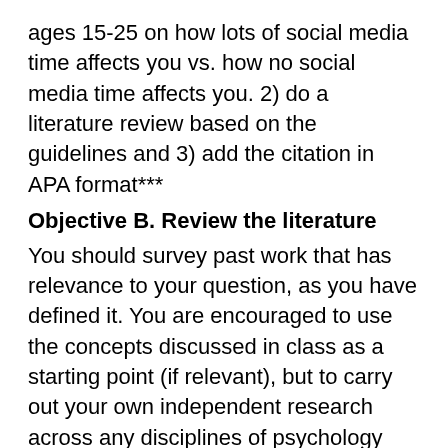ages 15-25 on how lots of social media time affects you vs. how no social media time affects you. 2) do a literature review based on the guidelines and 3) add the citation in APA format***
Objective B. Review the literature
You should survey past work that has relevance to your question, as you have defined it. You are encouraged to use the concepts discussed in class as a starting point (if relevant), but to carry out your own independent research across any disciplines of psychology that are pertinent.
You should discuss relevant theories and explain